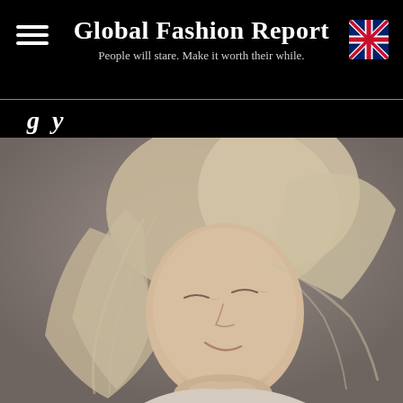Global Fashion Report
People will stare. Make it worth their while.
[Figure (photo): Portrait photograph of an older woman with long silver-blonde hair, eyes closed, smiling gently with hands clasped near her chin, wearing a light knit sweater, photographed against a warm gray-brown background.]